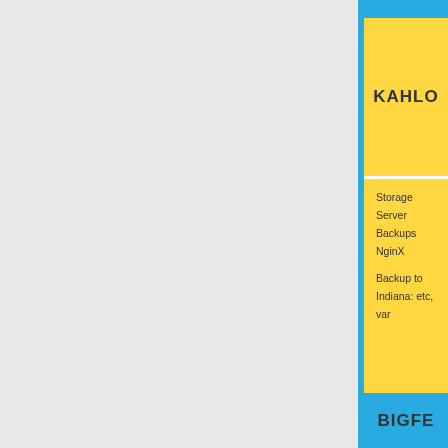KAHLO
Storage Server
Backups
NginX

Backup to Indiana: etc, var
BIGFE